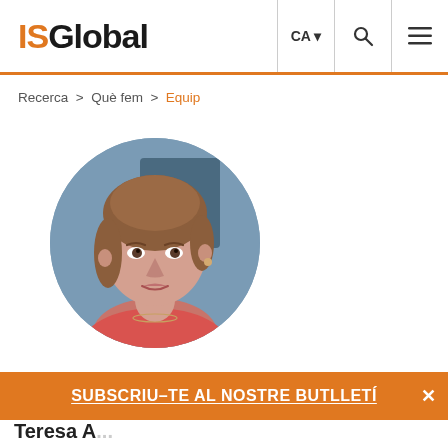ISGlobal
Recerca > Què fem > Equip
[Figure (photo): Circular profile photo of a middle-aged woman with short reddish-brown hair, wearing a coral/pink top and a delicate necklace, posed against a blurred ISGlobal-branded background.]
SUBSCRIU-TE AL NOSTRE BUTLLETÍ
Teresa A...